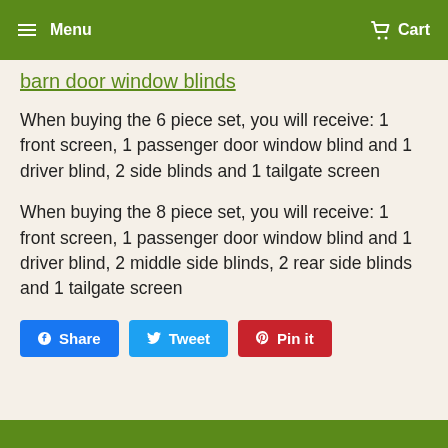Menu  Cart
barn door window blinds
When buying the 6 piece set, you will receive:  1 front screen, 1 passenger door window blind and 1 driver blind, 2 side blinds and 1 tailgate screen
When buying the 8 piece set, you will receive:  1 front screen, 1 passenger door window blind and 1 driver blind, 2 middle side blinds, 2 rear side blinds and 1 tailgate screen
Share  Tweet  Pin it